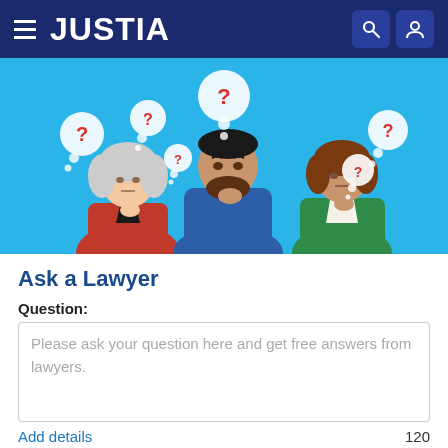JUSTIA
[Figure (illustration): Three people with thought bubbles containing red question marks on a light blue background. A woman with white/gray hair in a red jacket on the left, a bearded man in a blue jacket in the center, and a woman with brown hair in a green jacket on the right.]
Ask a Lawyer
Question:
Please ask your question here and get free answers from lawyers.
Add details
120
Ask Question